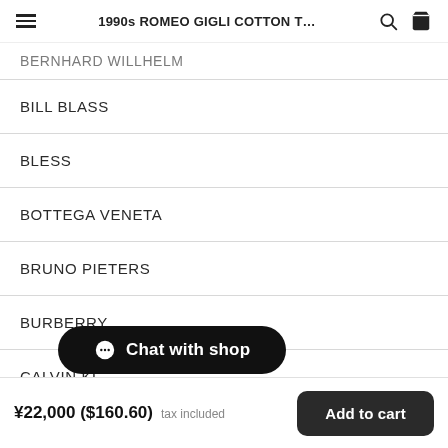1990s ROMEO GIGLI COTTON T…
BERNHARD WILLHELM
BILL BLASS
BLESS
BOTTEGA VENETA
BRUNO PIETERS
BURBERRY
CALVIN KL
Chat with shop
¥22,000 ($160.60) tax included
Add to cart